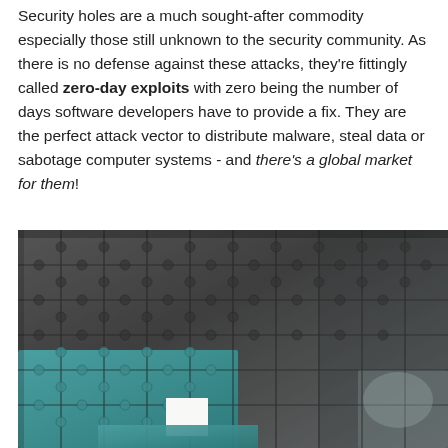Security holes are a much sought-after commodity especially those still unknown to the security community. As there is no defense against these attacks, they're fittingly called zero-day exploits with zero being the number of days software developers have to provide a fix. They are the perfect attack vector to distribute malware, steal data or sabotage computer systems - and there's a global market for them!
[Figure (photo): Close-up photograph of jigsaw puzzle pieces. Most pieces are dark grey/charcoal colored, while several pieces in the lower-left area are teal/cyan colored. There is a missing piece gap visible in the lower center of the image.]